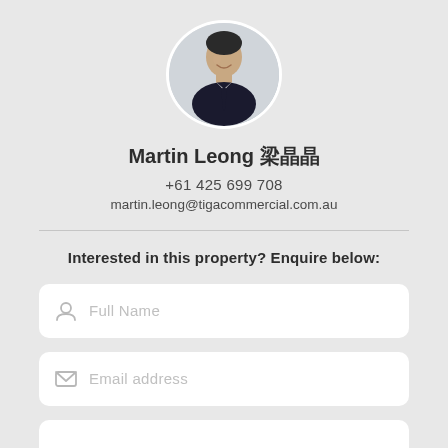[Figure (photo): Circular profile photo of Martin Leong, a man in a dark suit, smiling]
Martin Leong 梁晶晶
+61 425 699 708
martin.leong@tigacommercial.com.au
Interested in this property? Enquire below:
[Figure (screenshot): Form field with user icon and placeholder text 'Full Name']
[Figure (screenshot): Form field with envelope icon and placeholder text 'Email address']
[Figure (screenshot): Partially visible form field at bottom of page]